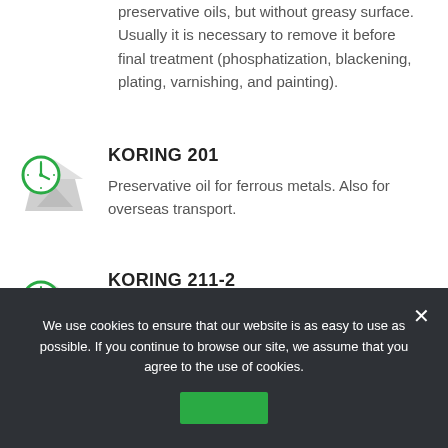preservative oils, but without greasy surface. Usually it is necessary to remove it before final treatment (phosphatization, blackening, plating, varnishing, and painting).
[Figure (illustration): Green clock icon overlapping a grey landscape/document graphic — product icon for KORING 201]
KORING 201
Preservative oil for ferrous metals. Also for overseas transport.
[Figure (illustration): Green clock icon overlapping a grey landscape/document graphic — product icon for KORING 211-2]
KORING 211-2
It is an aqueous product containing
We use cookies to ensure that our website is as easy to use as possible. If you continue to browse our site, we assume that you agree to the use of cookies.